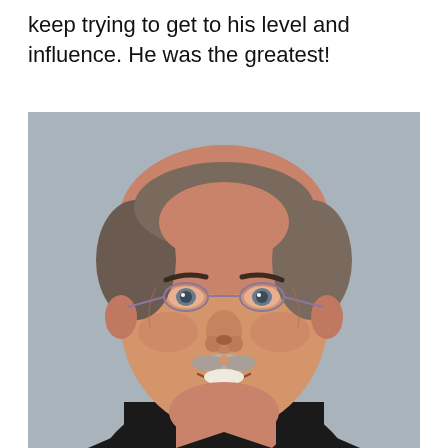keep trying to get to his level and influence. He was the greatest!
[Figure (photo): Portrait photo of an older man with salt-and-pepper hair, thin-framed glasses, a goatee/mustache, smiling slightly, wearing a dark shirt, against a gray background.]